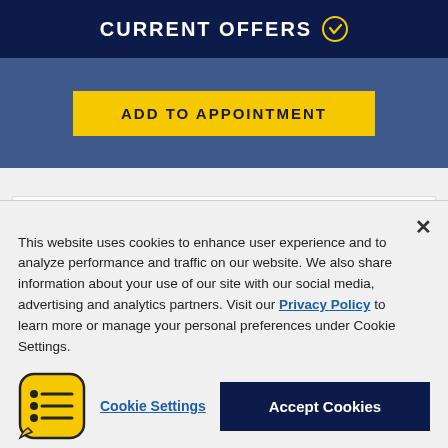CURRENT OFFERS
ADD TO APPOINTMENT
Cooper® Discoverer® Snow Claw® LT
This website uses cookies to enhance user experience and to analyze performance and traffic on our website. We also share information about your use of our site with our social media, advertising and analytics partners. Visit our Privacy Policy to learn more or manage your personal preferences under Cookie Settings.
Cookie Settings
Accept Cookies